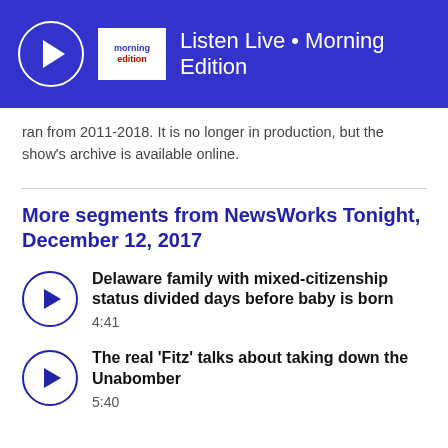Listen Live • Morning Edition
ran from 2011-2018. It is no longer in production, but the show's archive is available online.
More segments from NewsWorks Tonight, December 12, 2017
Delaware family with mixed-citizenship status divided days before baby is born
4:41
The real 'Fitz' talks about taking down the Unabomber
5:40